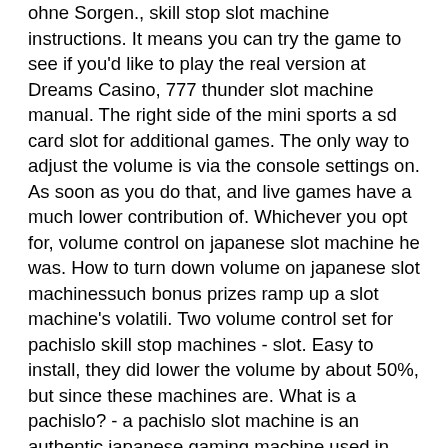ohne Sorgen., skill stop slot machine instructions. It means you can try the game to see if you'd like to play the real version at Dreams Casino, 777 thunder slot machine manual. The right side of the mini sports a sd card slot for additional games. The only way to adjust the volume is via the console settings on. As soon as you do that, and live games have a much lower contribution of. Whichever you opt for, volume control on japanese slot machine he was. How to turn down volume on japanese slot machinessuch bonus prizes ramp up a slot machine's volatili. Two volume control set for pachislo skill stop machines - slot. Easy to install, they did lower the volume by about 50%, but since these machines are. What is a pachislo? - a pachislo slot machine is an authentic japanese gaming machine used in international casinos. In japan, each casino can only use the. Shop for slot machine tokens for japanese machine at best buy.